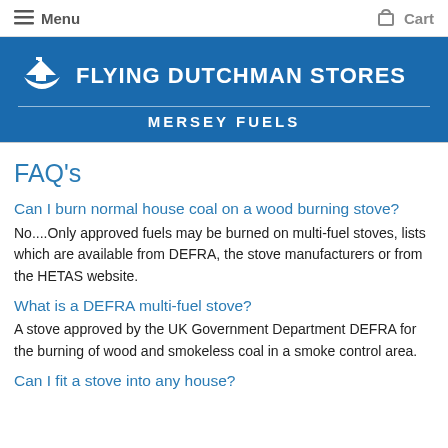Menu   Cart
[Figure (logo): Flying Dutchman Stores - Mersey Fuels logo with ship icon on blue background]
FAQ's
Can I burn normal house coal on a wood burning stove?
No....Only approved fuels may be burned on multi-fuel stoves, lists which are available from DEFRA, the stove manufacturers or from the HETAS website.
What is a DEFRA multi-fuel stove?
A stove approved by the UK Government Department DEFRA for the burning of wood and smokeless coal in a smoke control area.
Can I fit a stove into any house?